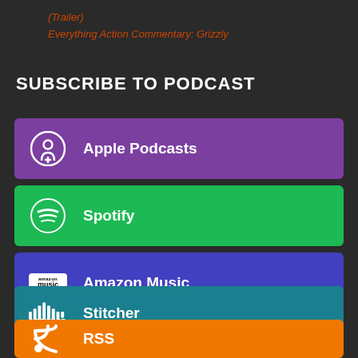(Trailer)
Everything Action Commentary: Grizzly
SUBSCRIBE TO PODCAST
Apple Podcasts
Spotify
Amazon Music
Stitcher
RSS